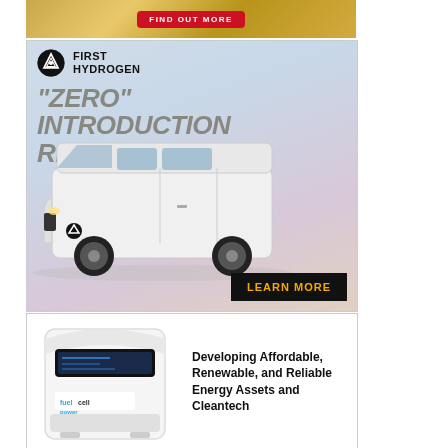[Figure (illustration): Golden textured banner advertisement with FIND OUT MORE red button]
[Figure (illustration): First Hydrogen advertisement featuring a white hydrogen-powered van with tagline 'ZERO INTRODUCTION REQUIRED' and LEARN MORE button]
[Figure (illustration): Advertisement showing a white fuel cell power unit device with text: Developing Affordable, Renewable, and Reliable Energy Assets and Cleantech]